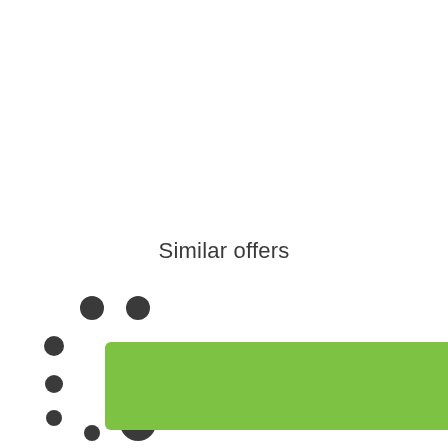Similar offers
[Figure (other): Loading spinner dots arranged in a circular pattern, dark gray dots]
Contact seller